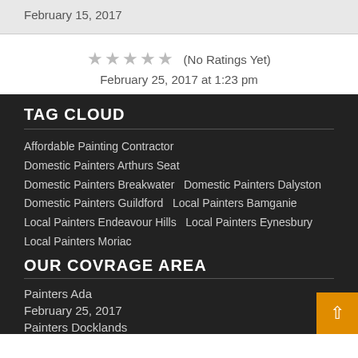February 15, 2017
★★★★★ (No Ratings Yet)
February 25, 2017 at 1:23 pm
TAG CLOUD
Affordable Painting Contractor
Domestic Painters Arthurs Seat
Domestic Painters Breakwater
Domestic Painters Dalyston
Domestic Painters Guildford
Local Painters Bamganie
Local Painters Endeavour Hills
Local Painters Eynesbury
Local Painters Moriac
OUR COVRAGE AREA
Painters Ada
February 25, 2017
Painters Docklands